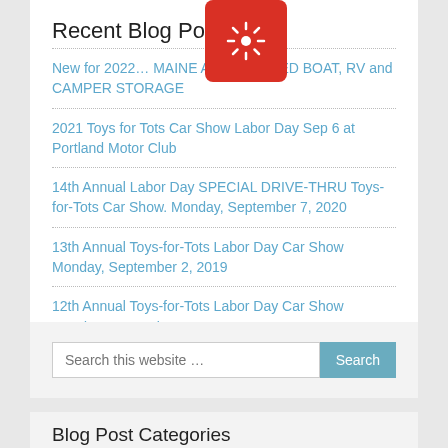Recent Blog Posts
New for 2022… MAINE AUTO HEATED BOAT, RV and CAMPER STORAGE
2021 Toys for Tots Car Show Labor Day Sep 6 at Portland Motor Club
14th Annual Labor Day SPECIAL DRIVE-THRU Toys-for-Tots Car Show. Monday, September 7, 2020
13th Annual Toys-for-Tots Labor Day Car Show Monday, September 2, 2019
12th Annual Toys-for-Tots Labor Day Car Show Monday, September 3, 2018
Search this website …
Blog Post Categories